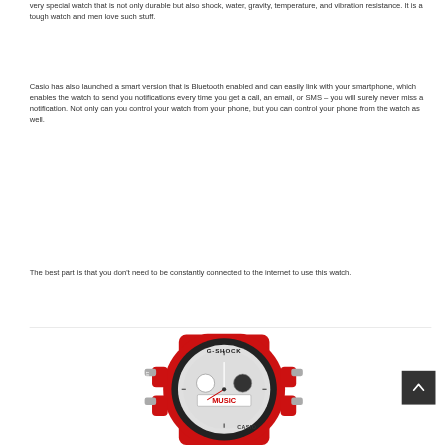very special watch that is not only durable but also shock, water, gravity, temperature, and vibration resistance. It is a tough watch and men love such stuff.
Casio has also launched a smart version that is Bluetooth enabled and can easily link with your smartphone, which enables the watch to send you notifications every time you get a call, an email, or SMS – you will surely never miss a notification. Not only can you control your watch from your phone, but you can control your phone from the watch as well.
The best part is that you don't need to be constantly connected to the internet to use this watch.
[Figure (photo): A red Casio G-Shock watch with black face, displaying 'MUSIC' on the dial, with side buttons and CASIO branding visible.]